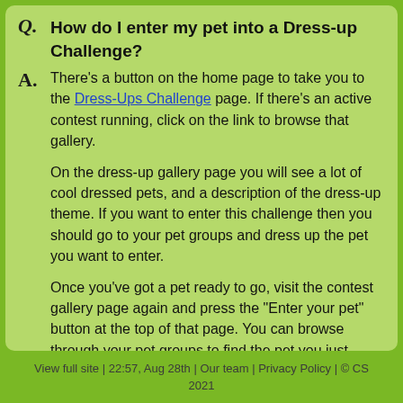Q. How do I enter my pet into a Dress-up Challenge?
A. There's a button on the home page to take you to the Dress-Ups Challenge page. If there's an active contest running, click on the link to browse that gallery.

On the dress-up gallery page you will see a lot of cool dressed pets, and a description of the dress-up theme. If you want to enter this challenge then you should go to your pet groups and dress up the pet you want to enter.

Once you've got a pet ready to go, visit the contest gallery page again and press the "Enter your pet" button at the top of that page. You can browse through your pet groups to find the pet you just dressed. It only shows pets with items on so it should be quite easy to find your dressed pet.
View full site | 22:57, Aug 28th | Our team | Privacy Policy | © CS 2021